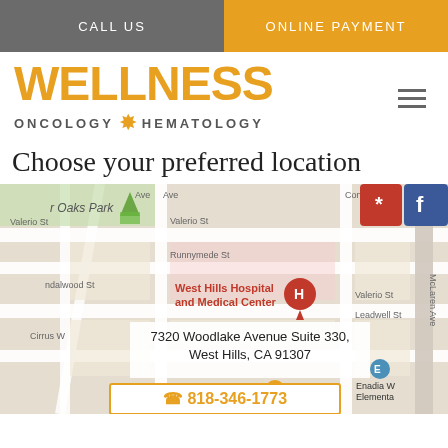CALL US | ONLINE PAYMENT
[Figure (logo): Wellness Oncology Hematology logo with orange sunburst star icon]
Choose your preferred location
[Figure (map): Google Maps screenshot showing West Hills Hospital and Medical Center area, with address overlay: 7320 Woodlake Avenue Suite 330, West Hills, CA 91307, and Yelp/Facebook social icons, Malibu Wines marker]
7320 Woodlake Avenue Suite 330, West Hills, CA 91307
818-346-1773